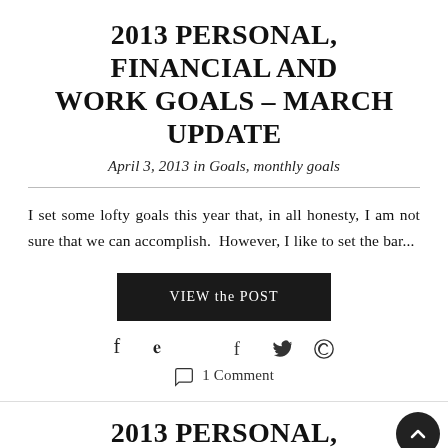2013 PERSONAL, FINANCIAL AND WORK GOALS – MARCH UPDATE
April 3, 2013 in Goals, monthly goals
I set some lofty goals this year that, in all honesty, I am not sure that we can accomplish. However, I like to set the bar...
[Figure (other): Black button labeled 'VIEW the POST']
[Figure (other): Social share icons: Facebook (f), Twitter (bird), Pinterest (P)]
1 Comment
2013 PERSONAL, FINANCIAL AND WORK GOALS – FEBRUARY UPDATE